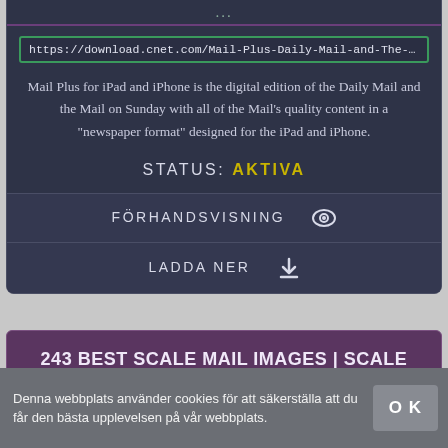...
https://download.cnet.com/Mail-Plus-Daily-Mail-and-The-Mail-on-Sun
Mail Plus for iPad and iPhone is the digital edition of the Daily Mail and the Mail on Sunday with all of the Mail's quality content in a "newspaper format" designed for the iPad and iPhone.
STATUS: AKTIVA
FÖRHANDSVISNING 👁
LADDA NER ⬇
243 BEST SCALE MAIL IMAGES | SCALE MAIL, CHAINMAILLE, CHAIN MAIL
https://www.pinterest.com/lucindaledbette/scale-mail/
Denna webbplats använder cookies för att säkerställa att du får den bästa upplevelsen på vår webbplats.